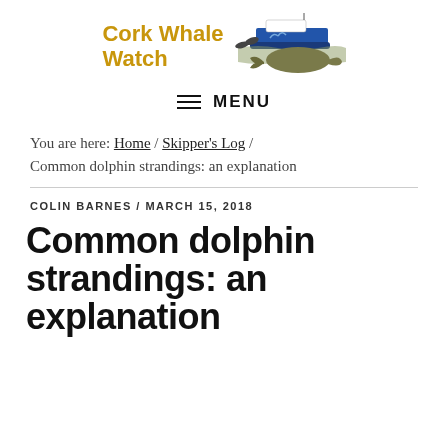[Figure (logo): Cork Whale Watch logo with golden text and illustration of boat with dolphins and whale]
MENU
You are here: Home / Skipper's Log / Common dolphin strandings: an explanation
COLIN BARNES / MARCH 15, 2018
Common dolphin strandings: an explanation